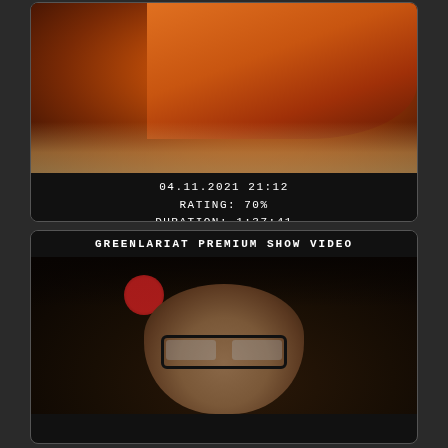[Figure (photo): Video thumbnail showing person in orange top, dark background]
04.11.2021 21:12
RATING: 70%
DURATION: 1:37:41
GREENLARIAT PREMIUM SHOW VIDEO
[Figure (photo): Video thumbnail showing older man with glasses in dark room with red circular logo in background]